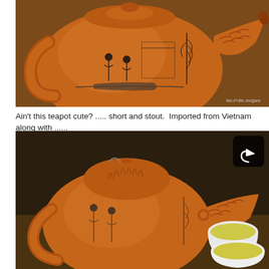[Figure (photo): Close-up photo of an orange/terracotta Vietnamese clay teapot with a dragon-shaped spout and hand-painted Chinese scene on the body. Watermark reads 'No-Frills recipes' in bottom right.]
Ain't this teapot cute? ..... short and stout.  Imported from Vietnam along with ......
[Figure (photo): Photo of the same orange Vietnamese clay teapot with dragon spout, shown with two white cups filled with green tea on a wooden table. A share button icon is visible in the top right corner of the image.]